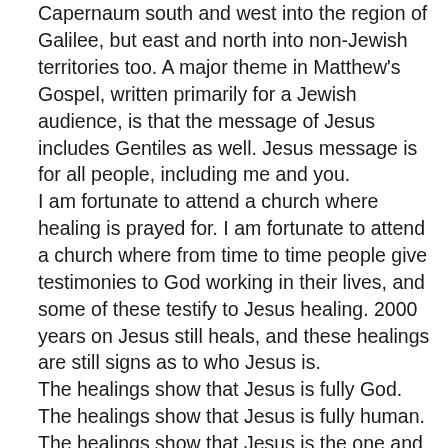Capernaum south and west into the region of Galilee, but east and north into non-Jewish territories too. A major theme in Matthew's Gospel, written primarily for a Jewish audience, is that the message of Jesus includes Gentiles as well. Jesus message is for all people, including me and you.
I am fortunate to attend a church where healing is prayed for. I am fortunate to attend a church where from time to time people give testimonies to God working in their lives, and some of these testify to Jesus healing. 2000 years on Jesus still heals, and these healings are still signs as to who Jesus is.
The healings show that Jesus is fully God. The healings show that Jesus is fully human. The healings show that Jesus is the one and only Messiah. Jesus asks those who follow him to trust him and show that they understand who